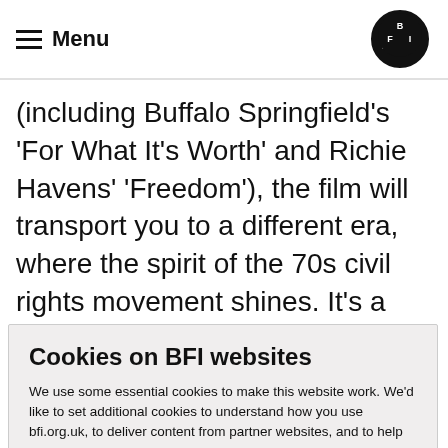Menu | BFI
(including Buffalo Springfield’s ‘For What It’s Worth’ and Richie Havens’ ‘Freedom’), the film will transport you to a different era, where the spirit of the 70s civil rights movement shines. It’s a unique work of activism, connection and hope that parallels the
Cookies on BFI websites
We use some essential cookies to make this website work. We’d like to set additional cookies to understand how you use bfi.org.uk, to deliver content from partner websites, and to help market the BFI’s activities. BFI cookies policy
View cookies
Reject cookies